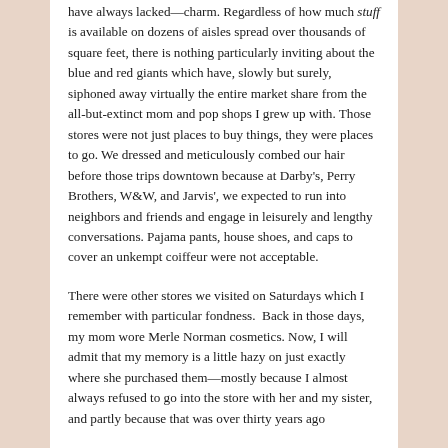have always lacked—charm. Regardless of how much stuff is available on dozens of aisles spread over thousands of square feet, there is nothing particularly inviting about the blue and red giants which have, slowly but surely, siphoned away virtually the entire market share from the all-but-extinct mom and pop shops I grew up with. Those stores were not just places to buy things, they were places to go. We dressed and meticulously combed our hair before those trips downtown because at Darby's, Perry Brothers, W&W, and Jarvis', we expected to run into neighbors and friends and engage in leisurely and lengthy conversations. Pajama pants, house shoes, and caps to cover an unkempt coiffeur were not acceptable.
There were other stores we visited on Saturdays which I remember with particular fondness.  Back in those days, my mom wore Merle Norman cosmetics. Now, I will admit that my memory is a little hazy on just exactly where she purchased them—mostly because I almost always refused to go into the store with her and my sister, and partly because that was over thirty years ago